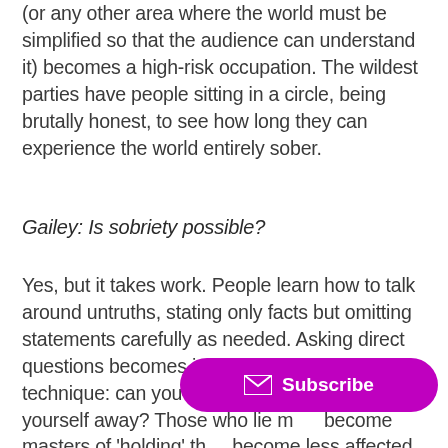(or any other area where the world must be simplified so that the audience can understand it) becomes a high-risk occupation. The wildest parties have people sitting in a circle, being brutally honest, to see how long they can experience the world entirely sober.
Gailey: Is sobriety possible?
Yes, but it takes work. People learn how to talk around untruths, stating only facts but omitting statements carefully as needed. Asking direct questions becomes impolite, or a manipulation technique: can you answer this without giving yourself away? Those who lie m… become masters of 'holding' th… become less affected by their own words. Those